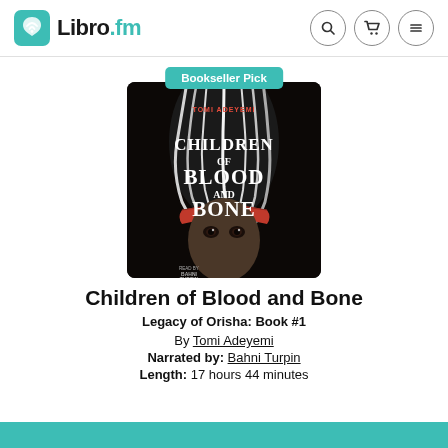Libro.fm
[Figure (illustration): Book cover for Children of Blood and Bone by Tomi Adeyemi, narrated by Bahni Turpin. Dark cover showing a young woman with flowing white hair and a red headband, with bold title text.]
Bookseller Pick
Children of Blood and Bone
Legacy of Orisha: Book #1
By Tomi Adeyemi
Narrated by: Bahni Turpin
Length: 17 hours 44 minutes